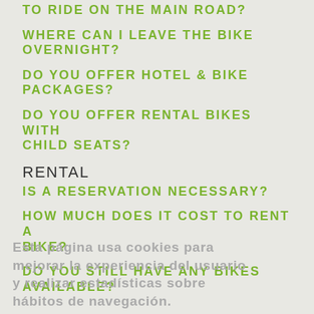TO RIDE ON THE MAIN ROAD?
WHERE CAN I LEAVE THE BIKE OVERNIGHT?
DO YOU OFFER HOTEL & BIKE PACKAGES?
DO YOU OFFER RENTAL BIKES WITH CHILD SEATS?
RENTAL
IS A RESERVATION NECESSARY?
HOW MUCH DOES IT COST TO RENT A BIKE?
DO YOU STILL HAVE ANY BIKES AVAILABLE?
Esta página usa cookies para mejorar la experiencia del usuario y realizar estadísticas sobre hábitos de navegación.
¡Entendido!